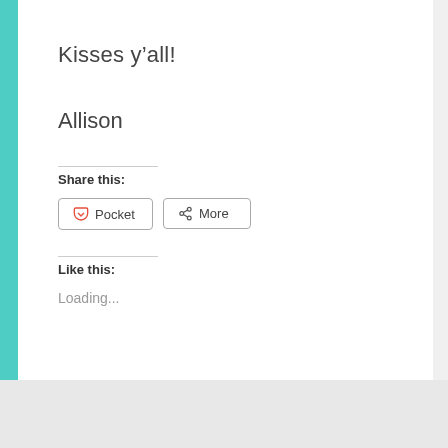Kisses y’all!
Allison
Share this:
[Figure (screenshot): Pocket button with heart-pocket icon and 'Pocket' label]
[Figure (screenshot): More button with share icon and 'More' label]
Like this:
Loading...
Advertisements
[Figure (screenshot): DAY ONE app advertisement banner: 'The only journaling app you’ll ever need.']
[Figure (screenshot): Close (X) button circle overlay]